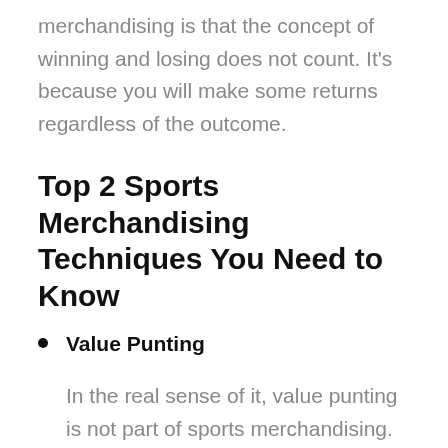merchandising is that the concept of winning and losing does not count. It's because you will make some returns regardless of the outcome.
Top 2 Sports Merchandising Techniques You Need to Know
Value Punting
In the real sense of it, value punting is not part of sports merchandising. However, it's the bedrock of most trading tactics.